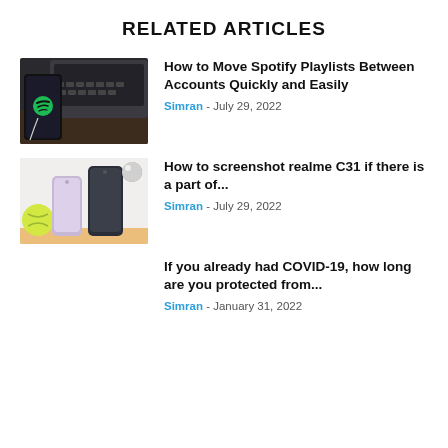RELATED ARTICLES
[Figure (photo): Smartphone with Spotify app open, next to a laptop, with earphones]
How to Move Spotify Playlists Between Accounts Quickly and Easily
Simran - July 29, 2022
[Figure (photo): Two smartphones (realme C31) against a light background with a yellow tennis ball]
How to screenshot realme C31 if there is a part of...
Simran - July 29, 2022
If you already had COVID-19, how long are you protected from...
Simran - January 31, 2022